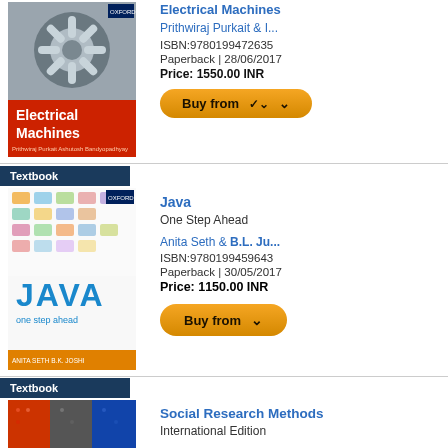[Figure (photo): Book cover of Electrical Machines by Prithwiraj Purkait]
Electrical Machines
Prithwiraj Purkait & I...
ISBN:9780199472635
Paperback | 28/06/2017
Price: 1550.00 INR
Buy from
Textbook
[Figure (photo): Book cover of Java: One Step Ahead by Anita Seth and B.L. Ju...]
Java
One Step Ahead
Anita Seth & B.L. Ju...
ISBN:9780199459643
Paperback | 30/05/2017
Price: 1150.00 INR
Buy from
Textbook
[Figure (photo): Book cover of Social Research Methods: International Edition]
Social Research Methods
International Edition